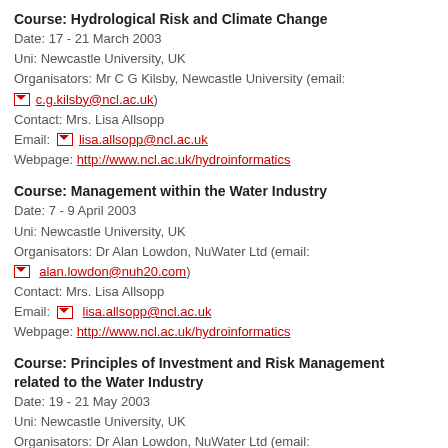Course: Hydrological Risk and Climate Change
Date: 17 - 21 March 2003
Uni: Newcastle University, UK
Organisators: Mr C G Kilsby, Newcastle University (email: c.g.kilsby@ncl.ac.uk)
Contact: Mrs. Lisa Allsopp
Email: lisa.allsopp@ncl.ac.uk
Webpage: http://www.ncl.ac.uk/hydroinformatics
Course: Management within the Water Industry
Date: 7 - 9 April 2003
Uni: Newcastle University, UK
Organisators: Dr Alan Lowdon, NuWater Ltd (email: alan.lowdon@nuh20.com)
Contact: Mrs. Lisa Allsopp
Email: lisa.allsopp@ncl.ac.uk
Webpage: http://www.ncl.ac.uk/hydroinformatics
Course: Principles of Investment and Risk Management related to the Water Industry
Date: 19 - 21 May 2003
Uni: Newcastle University, UK
Organisators: Dr Alan Lowdon, NuWater Ltd (email: alan.lowdon@nuh20.com)
Contact: Mrs. Lisa Allsopp
Email: lisa.allsopp@ncl.ac.uk